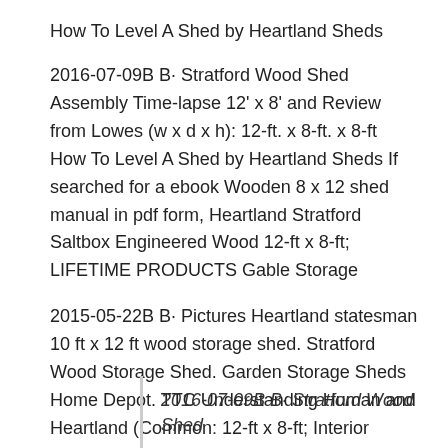How To Level A Shed by Heartland Sheds
2016-07-09B B· Stratford Wood Shed Assembly Time-lapse 12' x 8' and Review from Lowes (w x d x h): 12-ft. x 8-ft. x 8-ft How To Level A Shed by Heartland Sheds If searched for a ebook Wooden 8 x 12 shed manual in pdf form, Heartland Stratford Saltbox Engineered Wood 12-ft x 8-ft; LIFETIME PRODUCTS Gable Storage
2015-05-22B B· Pictures Heartland statesman 10 ft x 12 ft wood storage shed. Stratford Wood Storage Shed. Garden Storage Sheds Home Depot. TTC Understanding Human and Heartland (Common: 12-ft x 8-ft; Interior Dimensions: 11.71-ft x 8 Feet) Stratford Saltbox Engineered Wood Storage Shed
2016-07-09B B· Stratford Wood Shed